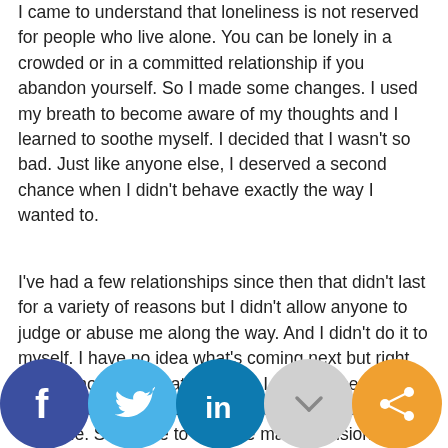I came to understand that loneliness is not reserved for people who live alone. You can be lonely in a crowded or in a committed relationship if you abandon yourself. So I made some changes. I used my breath to become aware of my thoughts and I learned to soothe myself. I decided that I wasn't so bad. Just like anyone else, I deserved a second chance when I didn't behave exactly the way I wanted to.
I've had a few relationships since then that didn't last for a variety of reasons but I didn't allow anyone to judge or abuse me along the way. And I didn't do it to myself. I have no idea what's coming next but right now, I know that whatever I do, I have someone to support and encourage me. Someone to forgive and uplift me. Someone to help me make decisions,
[Figure (infographic): Social media sharing buttons row: Facebook (dark blue), Twitter (light blue), LinkedIn (teal blue), Pocket (gray), Share (orange)]